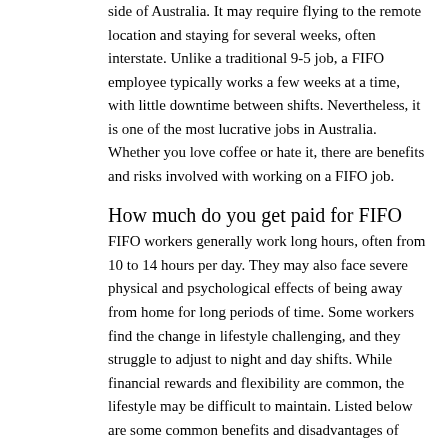side of Australia. It may require flying to the remote location and staying for several weeks, often interstate. Unlike a traditional 9-5 job, a FIFO employee typically works a few weeks at a time, with little downtime between shifts. Nevertheless, it is one of the most lucrative jobs in Australia. Whether you love coffee or hate it, there are benefits and risks involved with working on a FIFO job.
How much do you get paid for FIFO
FIFO workers generally work long hours, often from 10 to 14 hours per day. They may also face severe physical and psychological effects of being away from home for long periods of time. Some workers find the change in lifestyle challenging, and they struggle to adjust to night and day shifts. While financial rewards and flexibility are common, the lifestyle may be difficult to maintain. Listed below are some common benefits and disadvantages of FIFO jobs.
Miners generally earn $124,000 per year and have a three-year tenure. Although FIFO workers can be accepted without prior experience, they should complete WHS training as it